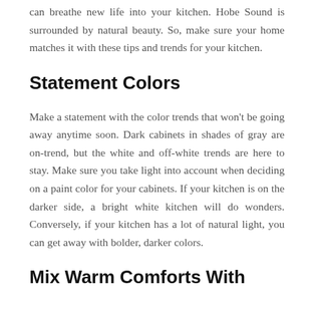can breathe new life into your kitchen. Hobe Sound is surrounded by natural beauty. So, make sure your home matches it with these tips and trends for your kitchen.
Statement Colors
Make a statement with the color trends that won't be going away anytime soon. Dark cabinets in shades of gray are on-trend, but the white and off-white trends are here to stay. Make sure you take light into account when deciding on a paint color for your cabinets. If your kitchen is on the darker side, a bright white kitchen will do wonders. Conversely, if your kitchen has a lot of natural light, you can get away with bolder, darker colors.
Mix Warm Comforts With